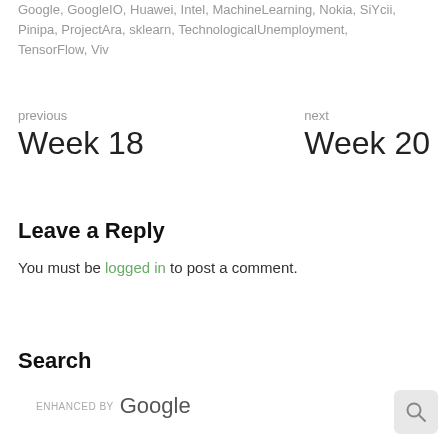Google, GoogleIO, Huawei, Intel, MachineLearning, Nokia, SiYcii, Pinipa, ProjectAra, sklearn, TechnologicalUnemployment, TensorFlow, Viv
previous
Week 18
next
Week 20
Leave a Reply
You must be logged in to post a comment.
Search
ENHANCED BY Google